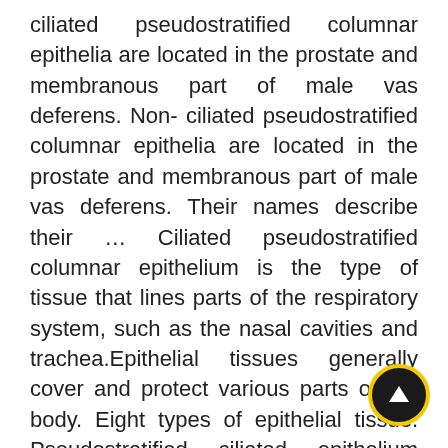ciliated pseudostratified columnar epithelia are located in the prostate and membranous part of male vas deferens. Non- ciliated pseudostratified columnar epithelia are located in the prostate and membranous part of male vas deferens. Their names describe their … Ciliated pseudostratified columnar epithelium is the type of tissue that lines parts of the respiratory system, such as the nasal cavities and trachea.Epithelial tissues generally cover and protect various parts of the body. Eight types of epithelial tissue. Pseudostratified ciliated epithelium (40X) Human respiratory tract The bar in this image shows the thickness of the layer of ciliated pseudostratified epithelium. The positioning of the nuclei within the individual columnar cells causes this illusion. Ciliated pseudostratified columnar epithelia is the type of respiratory epithelium found in the linings of the trachea as well as the upper respiratory tract. As implied by their moniker,